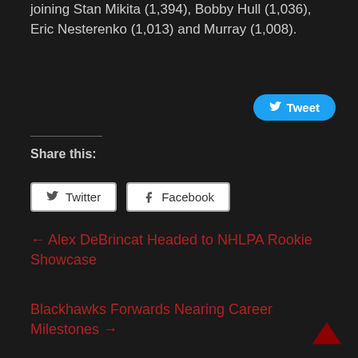joining Stan Mikita (1,394), Bobby Hull (1,036), Eric Nesterenko (1,013) and Murray (1,008).
Tweet
Share this:
Twitter
Facebook
← Alex DeBrincat Headed to NHLPA Rookie Showcase
Blackhawks Forwards Nearing Career Milestones →